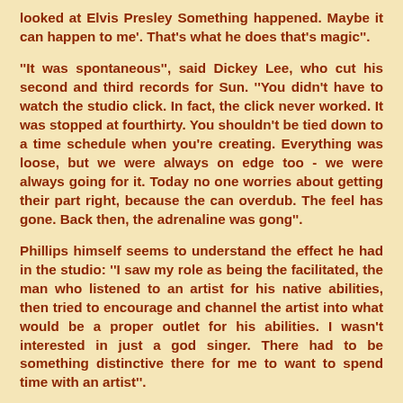looked at Elvis Presley Something happened. Maybe it can happen to me'. That's what he does that's magic''.
''It was spontaneous'', said Dickey Lee, who cut his second and third records for Sun. ''You didn't have to watch the studio click. In fact, the click never worked. It was stopped at fourthirty. You shouldn't be tied down to a time schedule when you're creating. Everything was loose, but we were always on edge too - we were always going for it. Today no one worries about getting their part right, because the can overdub. The feel has gone. Back then, the adrenaline was gong''.
Phillips himself seems to understand the effect he had in the studio: ''I saw my role as being the facilitated, the man who listened to an artist for his native abilities, then tried to encourage and channel the artist into what would be a proper outlet for his abilities. I wasn't interested in just a god singer. There had to be something distinctive there for me to want to spend time with an artist''.
As recording technology evolved from single-track to multitrack, the ''producer'' (a coinage adopted from the movie business), worked as the liaison between the